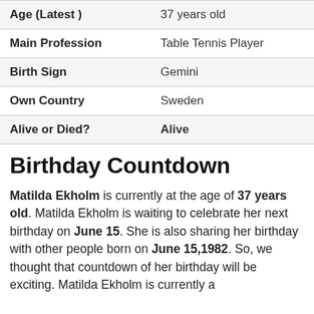| Age (Latest ) | 37 years old |
| Main Profession | Table Tennis Player |
| Birth Sign | Gemini |
| Own Country | Sweden |
| Alive or Died? | Alive |
Birthday Countdown
Matilda Ekholm is currently at the age of 37 years old. Matilda Ekholm is waiting to celebrate her next birthday on June 15. She is also sharing her birthday with other people born on June 15,1982. So, we thought that countdown of her birthday will be exciting. Matilda Ekholm is currently a